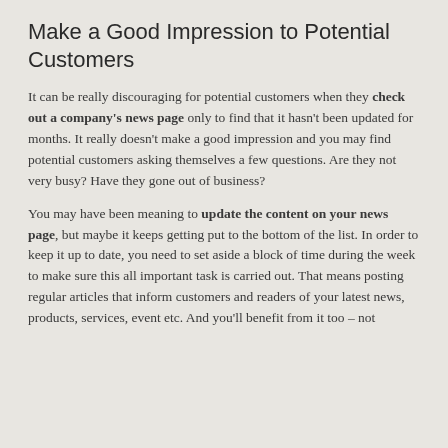Make a Good Impression to Potential Customers
It can be really discouraging for potential customers when they check out a company's news page only to find that it hasn't been updated for months. It really doesn't make a good impression and you may find potential customers asking themselves a few questions. Are they not very busy? Have they gone out of business?
You may have been meaning to update the content on your news page, but maybe it keeps getting put to the bottom of the list. In order to keep it up to date, you need to set aside a block of time during the week to make sure this all important task is carried out. That means posting regular articles that inform customers and readers of your latest news, products, services, event etc. And you'll benefit from it too – not